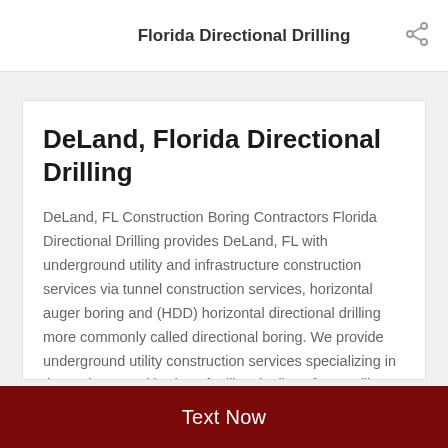Florida Directional Drilling
DeLand, Florida Directional Drilling
DeLand, FL Construction Boring Contractors Florida Directional Drilling provides DeLand, FL with underground utility and infrastructure construction services via tunnel construction services, horizontal auger boring and (HDD) horizontal directional drilling more commonly called directional boring. We provide underground utility construction services specializing in the underground boring of utility pipelines for satellite, cable, TV, Internet,
Text Now